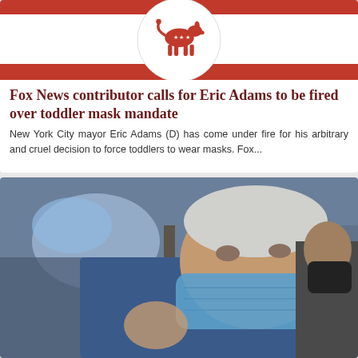[Figure (photo): Democratic party donkey logo on red and white striped background, circular emblem]
Fox News contributor calls for Eric Adams to be fired over toddler mask mandate
New York City mayor Eric Adams (D) has come under fire for his arbitrary and cruel decision to force toddlers to wear masks. Fox...
[Figure (photo): Older man wearing a blue surgical mask and blue suit jacket, photographed outdoors, another person wearing a black mask visible in background]